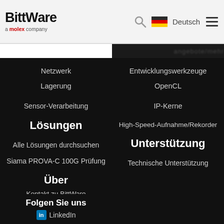BittWare a molex company | Deutsch
Netzwerk
Entwicklungswerkzeuge
Lagerung
OpenCL
Sensor-Verarbeitung
IP-Kerne
Lösungen
High-Speed-Aufnahme/Rekorder
Alle Lösungen durchsuchen
Unterstützung
Siama PROVA-C 100G Prüfung
Technische Unterstützung
Über
Kontakt zu BittWare
Über BittWare
Nachrichten und Veranstaltungen
Vertriebskanäle
Karriere
Folgen Sie uns
LinkedIn